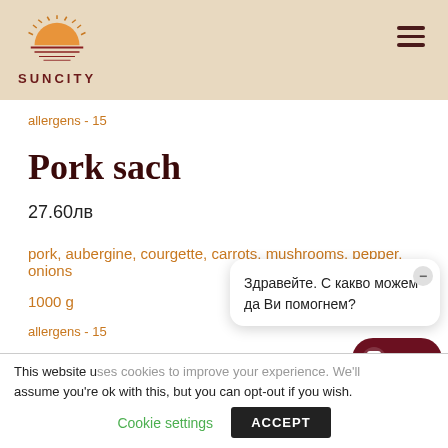[Figure (logo): Suncity logo with sun/horizon graphic and SUNCITY text]
allergens - 15
Pork sach
27.60лв
pork, aubergine, courgette, carrots, mushrooms, pepper, onions
1000 g
allergens - 15
This website u...
assume you're ok with this, but you can opt-out if you wish.
Cookie settings
ACCEPT
Здравейте. С какво можем да Ви помогнем?
Chat